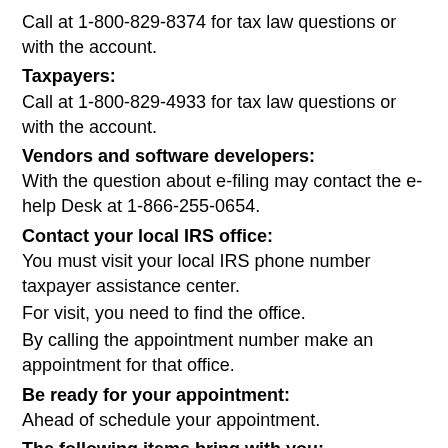Call at 1-800-829-8374 for tax law questions or with the account.
Taxpayers:
Call at 1-800-829-4933 for tax law questions or with the account.
Vendors and software developers:
With the question about e-filing may contact the e-help Desk at 1-866-255-0654.
Contact your local IRS office:
You must visit your local IRS phone number taxpayer assistance center.
For visit, you need to find the office.
By calling the appointment number make an appointment for that office.
Be ready for your appointment:
Ahead of schedule your appointment.
The following items bring with you:
A photo ID by current government-issued.